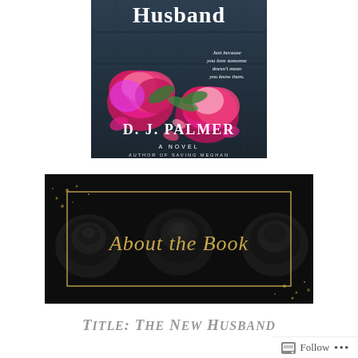[Figure (illustration): Book cover for 'The New Husband' by D.J. Palmer. Dark blue wooden background with pink peony flowers scattered across it. White title text 'Husband' at top (partial). Italic white text reads 'Just because you love someone doesn't mean you know them.' Author name 'D. J. PALMER' in large white serif font. Subtitle 'A NOVEL' above author name. Bottom text 'AUTHOR OF SAVING MEGHAN'.]
[Figure (illustration): Decorative banner with dark black background featuring black roses. Gold rectangular border inset. Gold script handwritten text 'About the Book' in the center. Gold glitter/dust accents in corners.]
TITLE: THE NEW HUSBAND
Follow ...